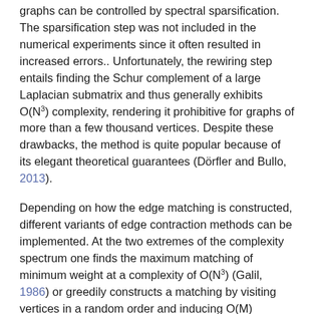graphs can be controlled by spectral sparsification. The sparsification step was not included in the numerical experiments since it often resulted in increased errors.. Unfortunately, the rewiring step entails finding the Schur complement of a large Laplacian submatrix and thus generally exhibits O(N³) complexity, rendering it prohibitive for graphs of more than a few thousand vertices. Despite these drawbacks, the method is quite popular because of its elegant theoretical guarantees (Dörfler and Bullo, 2013).
Depending on how the edge matching is constructed, different variants of edge contraction methods can be implemented. At the two extremes of the complexity spectrum one finds the maximum matching of minimum weight at a complexity of O(N³) (Galil, 1986) or greedily constructs a matching by visiting vertices in a random order and inducing O(M) overhead (Dhillon et al., 2007).
For consistency, I implemented all edge-based methods by combining Algorithm 2 with an edge-based family and substituting the local variation cost with the (negative) method-specific edge weight. This generally yields